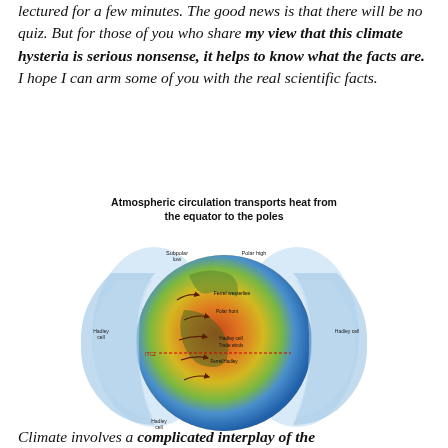lectured for a few minutes. The good news is that there will be no quiz. But for those of you who share my view that this climate hysteria is serious nonsense, it helps to know what the facts are. I hope I can arm some of you with the real scientific facts.
[Figure (illustration): Diagram of a globe showing atmospheric circulation patterns including Hadley cells, trade winds, polar highs, and subpolar lows, with colored heat distribution from equator (red/yellow) to poles (blue). Title: 'Atmospheric circulation transports heat from the equator to the poles'.]
Climate involves a complicated interplay of the